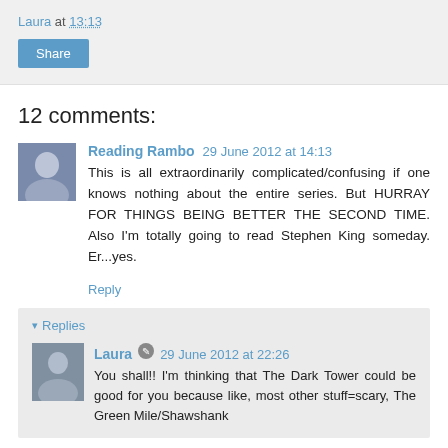Laura at 13:13
Share
12 comments:
Reading Rambo  29 June 2012 at 14:13
This is all extraordinarily complicated/confusing if one knows nothing about the entire series. But HURRAY FOR THINGS BEING BETTER THE SECOND TIME. Also I'm totally going to read Stephen King someday. Er...yes.
Reply
▾ Replies
Laura  29 June 2012 at 22:26
You shall!! I'm thinking that The Dark Tower could be good for you because like, most other stuff=scary, The Green Mile/Shawshank